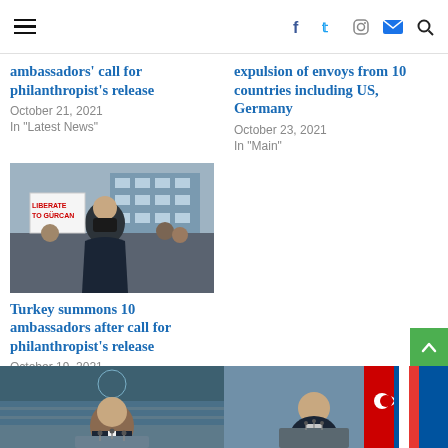Navigation header with hamburger menu and social icons (Facebook, Twitter, Instagram, Email, Search)
ambassadors' call for philanthropist's release
October 21, 2021
In "Latest News"
expulsion of envoys from 10 countries including US, Germany
October 23, 2021
In "Main"
[Figure (photo): Protest scene with people holding signs, man in black mask wearing graduation-style robe in foreground]
Turkey summons 10 ambassadors after call for philanthropist's release
October 19, 2021
In "Latest News"
[Figure (photo): Man in suit speaking at what appears to be the UN General Assembly podium]
[Figure (photo): Man speaking at podium with flags in background]